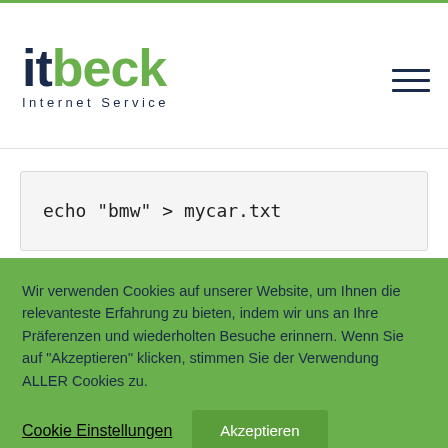[Figure (logo): itbeck Internet Service logo with 'it' in dark navy, 'beck' in green, and 'Internet Service' subtitle in navy]
Wir verwenden Cookies auf unserer Website, um Ihnen die relevanteste Erfahrung zu bieten, indem wir uns an Ihre Präferenzen und wiederholten Besuche erinnern. Wenn Sie auf "Akzeptieren" klicken, stimmen Sie der Verwendung ALLER Cookies zu.
Cookie Einstellungen
Akzeptieren